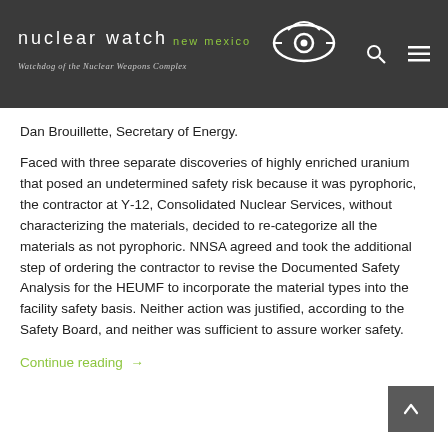nuclear watch new mexico — Watchdog of the Nuclear Weapons Complex
Dan Brouillette, Secretary of Energy.
Faced with three separate discoveries of highly enriched uranium that posed an undetermined safety risk because it was pyrophoric, the contractor at Y-12, Consolidated Nuclear Services, without characterizing the materials, decided to re-categorize all the materials as not pyrophoric. NNSA agreed and took the additional step of ordering the contractor to revise the Documented Safety Analysis for the HEUMF to incorporate the material types into the facility safety basis. Neither action was justified, according to the Safety Board, and neither was sufficient to assure worker safety.
Continue reading →